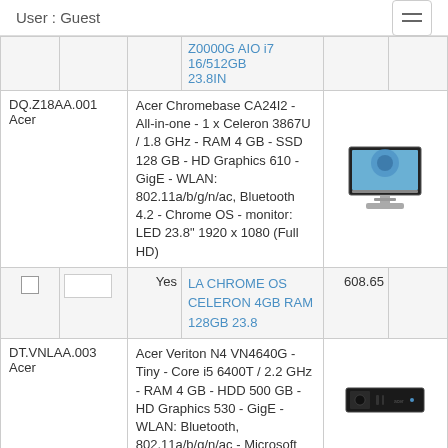User : Guest
| SKU/Brand | Description | Checkbox | Qty | Yes/No | Link/Price | Image |
| --- | --- | --- | --- | --- | --- | --- |
|  |  |  |  |  | Z0000G AIO i7 16/512GB 23.8IN |  |
| DQ.Z18AA.001 Acer | Acer Chromebase CA24I2 - All-in-one - 1 x Celeron 3867U / 1.8 GHz - RAM 4 GB - SSD 128 GB - HD Graphics 610 - GigE - WLAN: 802.11a/b/g/n/ac, Bluetooth 4.2 - Chrome OS - monitor: LED 23.8" 1920 x 1080 (Full HD) |  |  |  |  | [image] |
|  |  | ☐ | [qty box] | Yes | LA CHROME OS CELERON 4GB RAM 128GB 23.8  608.65 |  |
| DT.VNLAA.003 Acer | Acer Veriton N4 VN4640G - Tiny - Core i5 6400T / 2.2 GHz - RAM 4 GB - HDD 500 GB - HD Graphics 530 - GigE - WLAN: Bluetooth, 802.11a/b/g/n/ac - Microsoft |  |  |  |  | [image] |